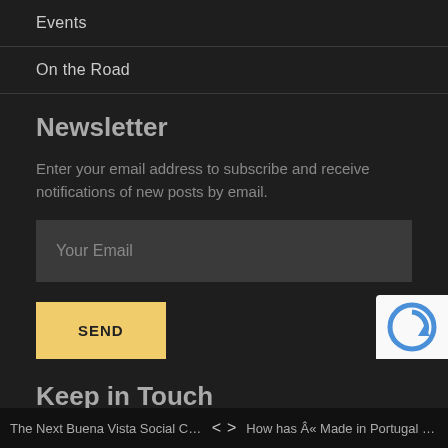Events
On the Road
Newsletter
Enter your email address to subscribe and receive notifications of new posts by email.
Your Email
SEND
Keep in Touch
The Next Buena Vista Social Club... < > How has Â« Made in Portugal Â» ...